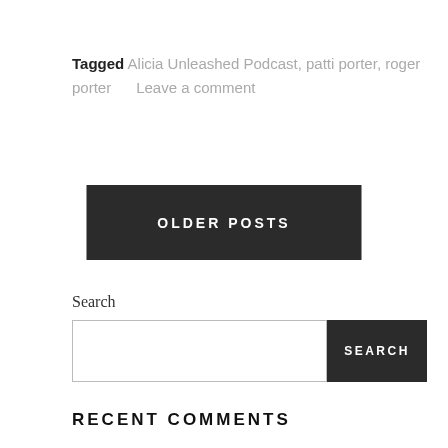Tagged Alicia Unleashed Podcast, patti porter, roger porter    Leave a comment
OLDER POSTS
Search
SEARCH
RECENT COMMENTS
Dr. Jon Dubin on Gloucester Schooner Festival 2...